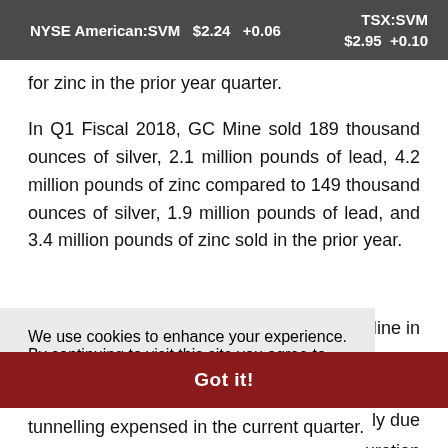NYSE American:SVM $2.24 +0.06    TSX:SVM $2.95 +0.10
for zinc in the prior year quarter.
In Q1 Fiscal 2018, GC Mine sold 189 thousand ounces of silver, 2.1 million pounds of lead, 4.2 million pounds of zinc compared to 149 thousand ounces of silver, 1.9 million pounds of lead, and 3.4 million pounds of zinc sold in the prior year.
Mine in tonne, Fiscal ly due uration g and
We use cookies to enhance your experience. By continuing to visit this site you agree to our use of cookies.  Learn more
Got it!
tunnelling expensed in the current quarter.